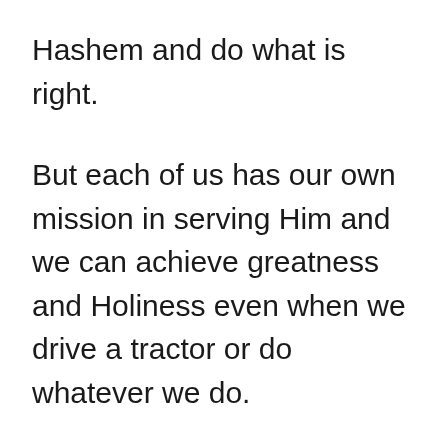Hashem and do what is right.
But each of us has our own mission in serving Him and we can achieve greatness and Holiness even when we drive a tractor or do whatever we do.
I am not a Rabbi, but in my own way, I try to raise my family–be a good husband, father, and prior a good son–